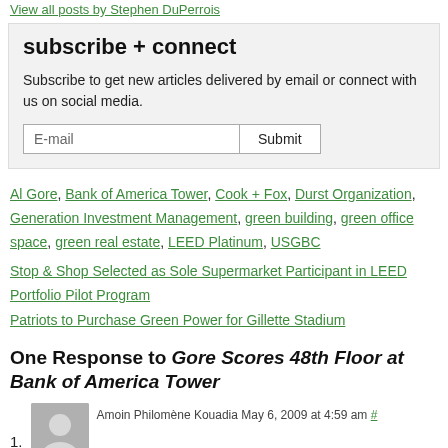View all posts by Stephen DuPerrois
subscribe + connect
Subscribe to get new articles delivered by email or connect with us on social media.
E-mail [input] Submit [button]
Al Gore, Bank of America Tower, Cook + Fox, Durst Organization, Generation Investment Management, green building, green office space, green real estate, LEED Platinum, USGBC
Stop & Shop Selected as Sole Supermarket Participant in LEED Portfolio Pilot Program
Patriots to Purchase Green Power for Gillette Stadium
One Response to Gore Scores 48th Floor at Bank of America Tower
1. Amoin Philomène Kouadia May 6, 2009 at 4:59 am #